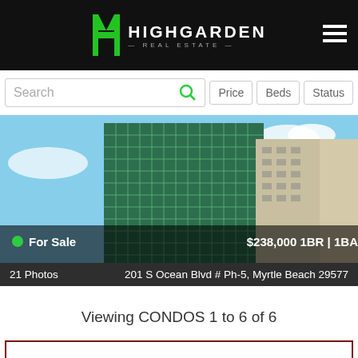Highgarden Real Estate
Search | Price | Beds | Status
[Figure (photo): Modern high-rise condo building with green glass facade and beige concrete building beside it, blue sky background. Overlay shows: For Sale, $238,000, 1BR | 1BA, 21 Photos, 201 S Ocean Blvd # Ph-5, Myrtle Beach 29577]
Viewing CONDOS 1 to 6 of 6
Call to Schedule a Showing
(843) 407-3511